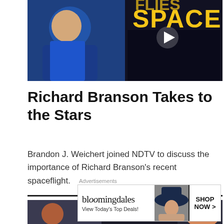[Figure (photo): Video thumbnail showing Richard Branson in a blue spacesuit smiling, with large yellow text 'SPACE' and a play button overlay. Crowd visible in background.]
Richard Branson Takes to the Stars
Brandon J. Weichert joined NDTV to discuss the importance of Richard Branson's recent spaceflight.
[Figure (photo): Video thumbnail showing two people in a dark setting, with one figure showing an orange/skin-toned profile on the right side. Three vertical dots visible.]
Advertisements
[Figure (screenshot): Bloomingdale's advertisement showing logo, 'View Today's Top Deals!' tagline, a model wearing a large hat, and a 'SHOP NOW >' button.]